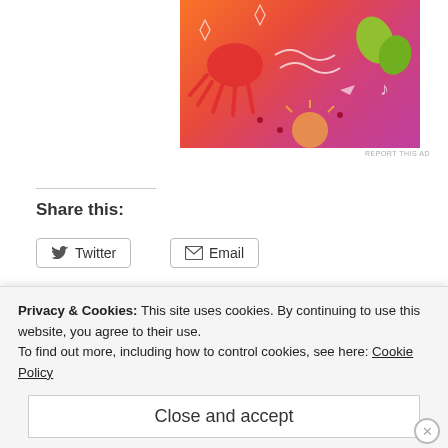[Figure (photo): Colorful illustrated ad banner with orange-to-pink gradient featuring cartoon sun, octopus, arrows, leaves, and decorative elements]
REPORT THIS AD
Share this:
Twitter
Email
[Figure (photo): Bottom strip showing partial image on left (blue/teal tones) and DRESSED text on right with partial head visible]
Privacy & Cookies: This site uses cookies. By continuing to use this website, you agree to their use.
To find out more, including how to control cookies, see here: Cookie Policy
Close and accept
In “sewing”